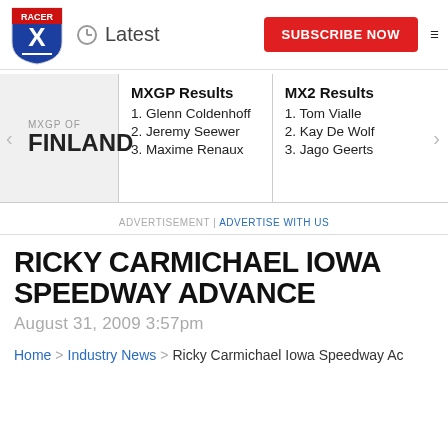Racer X | Latest | SUBSCRIBE NOW
MXGP OF FINLAND
MXGP Results
1. Glenn Coldenhoff
2. Jeremy Seewer
3. Maxime Renaux
MX2 Results
1. Tom Vialle
2. Kay De Wolf
3. Jago Geerts
ADVERTISEMENT | ADVERTISE WITH US
RICKY CARMICHAEL IOWA SPEEDWAY ADVANCE
August 31, 2009 3:57pm
Home > Industry News > Ricky Carmichael Iowa Speedway Ac